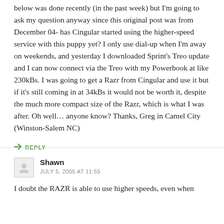below was done recently (in the past week) but I'm going to ask my question anyway since this original post was from December 04- has Cingular started using the higher-speed service with this puppy yet? I only use dial-up when I'm away on weekends, and yesterday I downloaded Sprint's Treo update and I can now connect via the Treo with my Powerbook at like 230kBs. I was going to get a Razr from Cingular and use it but if it's still coming in at 34kBs it would not be worth it, despite the much more compact size of the Razr, which is what I was after. Oh well... anyone know? Thanks, Greg in Camel City (Winston-Salem NC)
↳ REPLY
Shawn
JULY 5, 2005 AT 11:55
I doubt the RAZR is able to use higher speeds, even when